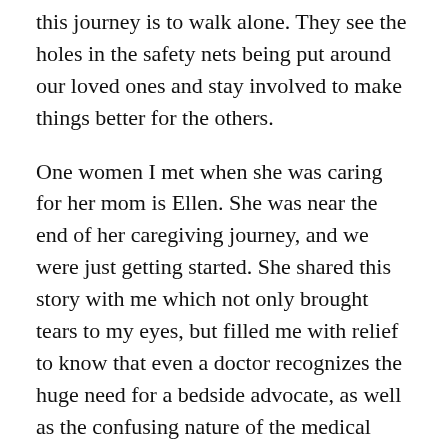this journey is to walk alone. They see the holes in the safety nets being put around our loved ones and stay involved to make things better for the others.
One women I met when she was caring for her mom is Ellen. She was near the end of her caregiving journey, and we were just getting started. She shared this story with me which not only brought tears to my eyes, but filled me with relief to know that even a doctor recognizes the huge need for a bedside advocate, as well as the confusing nature of the medical system and how even small details can make a huge difference when it comes to care.
In the final weeks of my mom's life, I was in the hospital after she broke her hip. I was lucky to have a colleague that is an Aging Life Care